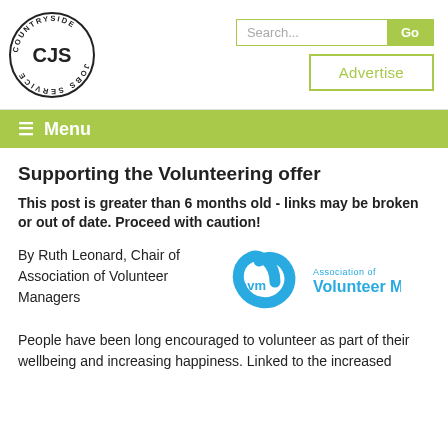[Figure (logo): Countryside Jobs Service (CJS) circular logo with letters CJS in center]
[Figure (logo): Search bar with Go button and Advertise button]
≡ Menu
Supporting the Volunteering offer
This post is greater than 6 months old - links may be broken or out of date. Proceed with caution!
By Ruth Leonard, Chair of Association of Volunteer Managers
[Figure (logo): Association of Volunteer Managers (avm) logo in blue]
People have been long encouraged to volunteer as part of their wellbeing and increasing happiness. Linked to the increased